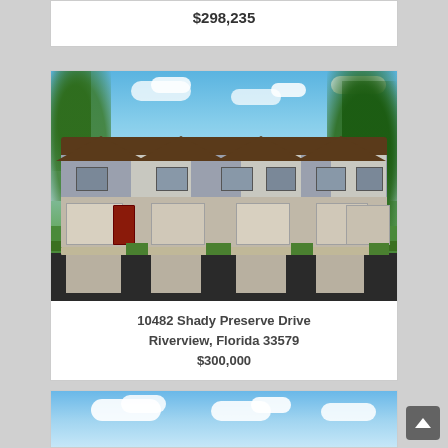$298,235
[Figure (photo): Exterior rendering of a row of two-story townhomes with gray and beige facade, brown roofs, single-car garages, and landscaped front. Located at 10482 Shady Preserve Drive, Riverview, Florida.]
10482 Shady Preserve Drive
Riverview, Florida 33579
$300,000
[Figure (photo): Partial view of another property listing photo showing blue sky with clouds.]